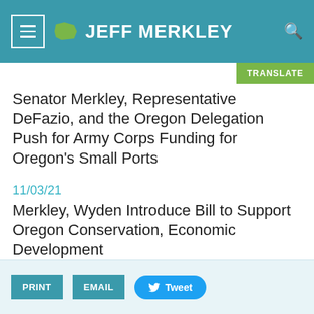JEFF MERKLEY
Senator Merkley, Representative DeFazio, and the Oregon Delegation Push for Army Corps Funding for Oregon's Small Ports
11/03/21
Merkley, Wyden Introduce Bill to Support Oregon Conservation, Economic Development